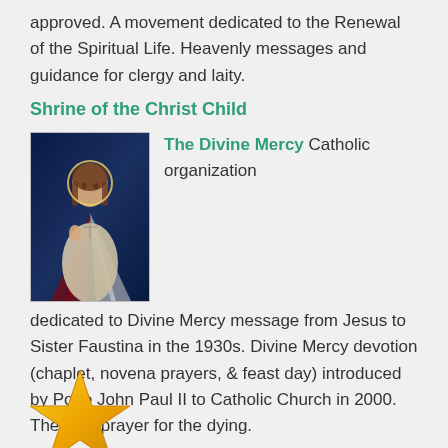approved. A movement dedicated to the Renewal of the Spiritual Life. Heavenly messages and guidance for clergy and laity.
Shrine of the Christ Child
[Figure (photo): Religious image of Jesus Christ with rays of light (Divine Mercy image)]
The Divine Mercy Catholic organization dedicated to Divine Mercy message from Jesus to Sister Faustina in the 1930s. Divine Mercy devotion (chaplet, novena prayers, & feast day) introduced by Pope John Paul II to Catholic Church in 2000. The best prayer for the dying.
[Figure (illustration): Gold star icon, partially visible at bottom of page]